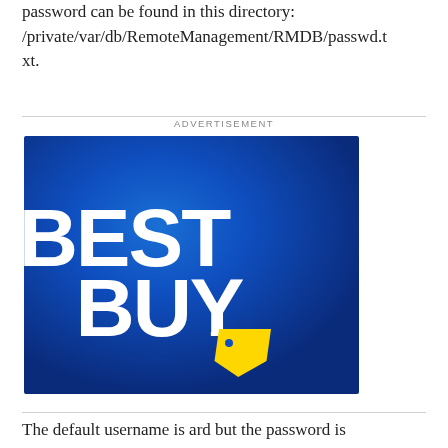password can be found in this directory: /private/var/db/RemoteManagement/RMDB/passwd.txt.
[Figure (logo): Best Buy advertisement banner with blue gradient background and white BEST BUY text logo with yellow price tag icon]
The default username is ard but the password is